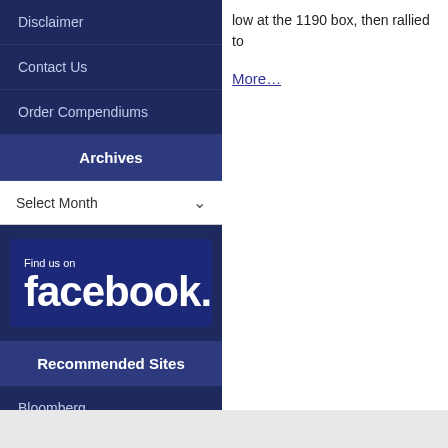Disclaimer
Contact Us
Order Compendiums
Archives
Select Month
[Figure (logo): Find us on Facebook logo banner with white text on dark blue background]
Recommended Sites
Bloomberg
Investopedia
low at the 1190 box, then rallied to
More…